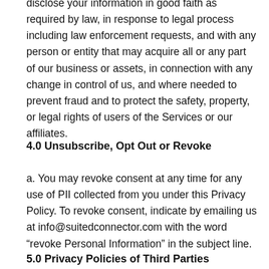disclose your information in good faith as required by law, in response to legal process including law enforcement requests, and with any person or entity that may acquire all or any part of our business or assets, in connection with any change in control of us, and where needed to prevent fraud and to protect the safety, property, or legal rights of users of the Services or our affiliates.
4.0 Unsubscribe, Opt Out or Revoke
a. You may revoke consent at any time for any use of PII collected from you under this Privacy Policy. To revoke consent, indicate by emailing us at info@suitedconnector.com with the word “revoke Personal Information” in the subject line.
5.0 Privacy Policies of Third Parties